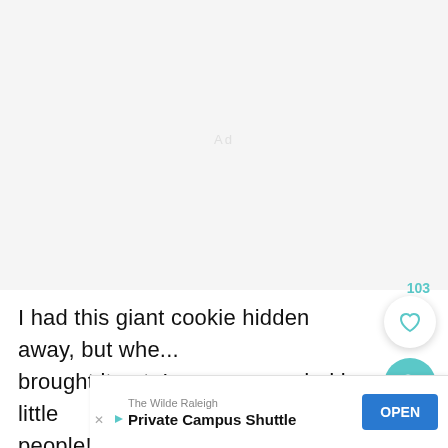[Figure (photo): Large light gray area, likely a photo placeholder or blurred/loading image at the top of the screen]
103
I had this giant cookie hidden away, but whe... brought it out, I was surrounded by little people! I recommend taking the time to m... if one
[Figure (screenshot): Advertisement banner: The Wilde Raleigh - Private Campus Shuttle with an OPEN button]